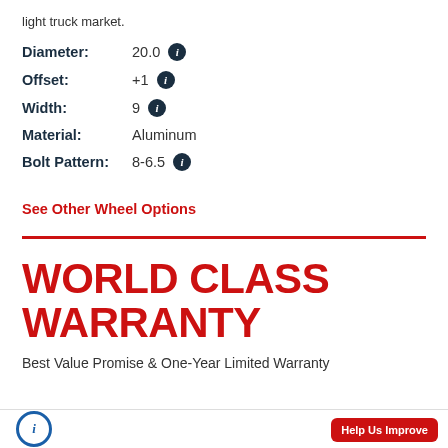light truck market.
Diameter: 20.0
Offset: +1
Width: 9
Material: Aluminum
Bolt Pattern: 8-6.5
See Other Wheel Options
WORLD CLASS WARRANTY
Best Value Promise & One-Year Limited Warranty
Help Us Improve